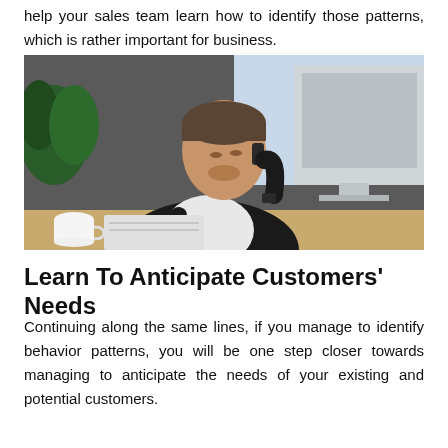help your sales team learn how to identify those patterns, which is rather important for business.
[Figure (photo): A businessman in a dark suit sitting at a desk, talking on a phone while writing notes, with a large iMac monitor beside him, a coffee cup, and green plants in the background.]
Learn To Anticipate Customers' Needs
Continuing along the same lines, if you manage to identify behavior patterns, you will be one step closer towards managing to anticipate the needs of your existing and potential customers.